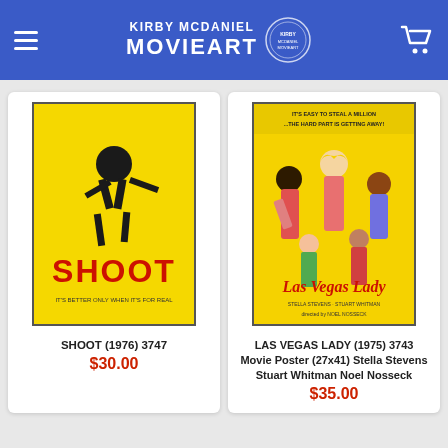KIRBY MCDANIEL MOVIEART
[Figure (photo): Movie poster for SHOOT (1976) – yellow background with black illustrated figure and red text 'SHOOT']
SHOOT (1976) 3747
$30.00
[Figure (photo): Movie poster for LAS VEGAS LADY (1975) – colorful retro poster with multiple figures and stylized title text]
LAS VEGAS LADY (1975) 3743 Movie Poster (27x41) Stella Stevens Stuart Whitman Noel Nosseck
$35.00